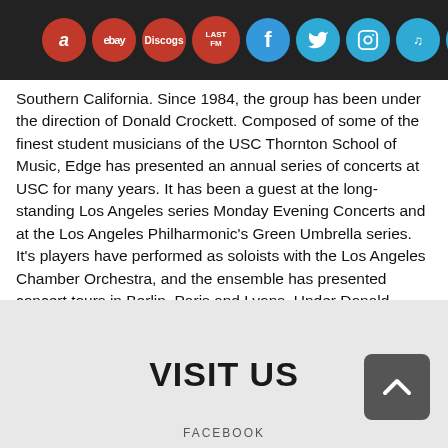Navigation bar with hamburger menu, Amazon, eBay, Discogs, Last.fm, Facebook, Twitter, Instagram, TikTok, Mail icons
Southern California. Since 1984, the group has been under the direction of Donald Crockett. Composed of some of the finest student musicians of the USC Thornton School of Music, Edge has presented an annual series of concerts at USC for many years. It has been a guest at the long-standing Los Angeles series Monday Evening Concerts and at the Los Angeles Philharmonic's Green Umbrella series. It's players have performed as soloists with the Los Angeles Chamber Orchestra, and the ensemble has presented concert tours in Berlin, Paris and Lyons. Under Donald Crockett, Edge has presented numerous premieres and has been coached and/or conducted by such composers as Witold Lutoslawski, John Harbison, Henryk GÃ³recki, Joan Tower, Steven Stucky, Judith Weir and the members of the USC Thornton composition faculty. Edge received the 2004 LA Weekly Award for Outstanding Classical Soloist/Ensemble. The present release features works by Frederick Lesemann.
VISIT US
FACEBOOK